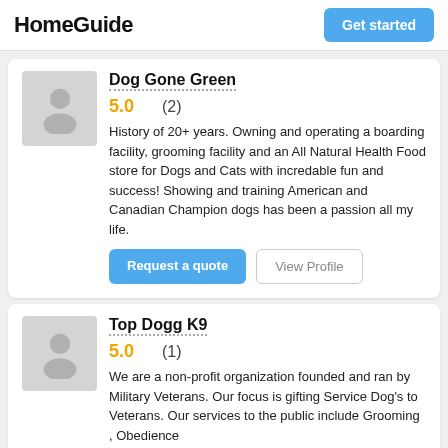HomeGuide | Get started
Dog Gone Green
5.0   (2)
History of 20+ years. Owning and operating a boarding facility, grooming facility and an All Natural Health Food store for Dogs and Cats with incredable fun and success! Showing and training American and Canadian Champion dogs has been a passion all my life.
Request a quote   View Profile
Top Dogg K9
5.0   (1)
We are a non-profit organization founded and ran by Military Veterans. Our focus is gifting Service Dog's to Veterans. Our services to the public include Grooming , Obedience